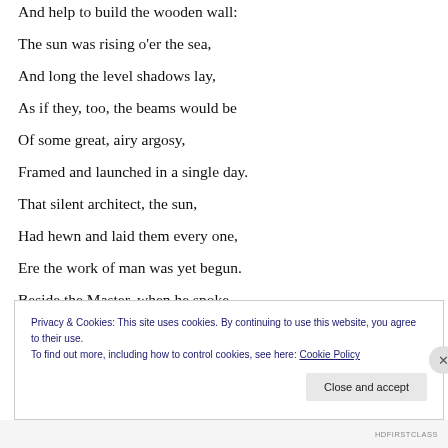And help to build the wooden wall:
The sun was rising o'er the sea,
And long the level shadows lay,
As if they, too, the beams would be
Of some great, airy argosy,
Framed and launched in a single day.
That silent architect, the sun,
Had hewn and laid them every one,
Ere the work of man was yet begun.
Beside the Master, when he spoke,
A youth, against an anchor leaning,
Privacy & Cookies: This site uses cookies. By continuing to use this website, you agree to their use.
To find out more, including how to control cookies, see here: Cookie Policy
HDFIRSTCLASS